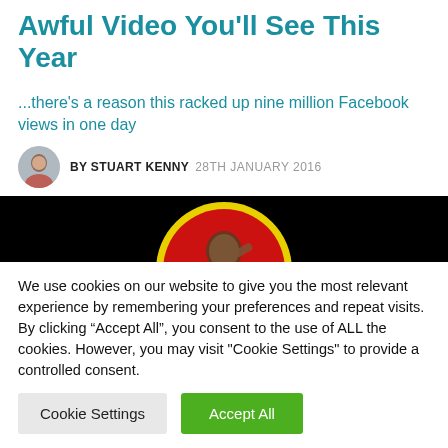Awful Video You'll See This Year
...there's a reason this racked up nine million Facebook views in one day
BY STUART KENNY  28TH JANUARY 2016
[Figure (photo): Video thumbnail with black background showing a circular logo with red background and a figure in it with yellow border]
We use cookies on our website to give you the most relevant experience by remembering your preferences and repeat visits. By clicking "Accept All", you consent to the use of ALL the cookies. However, you may visit "Cookie Settings" to provide a controlled consent.